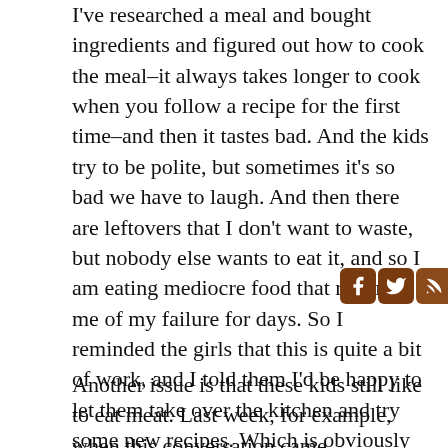I've researched a meal and bought ingredients and figured out how to cook the meal–it always takes longer to cook when you follow a recipe for the first time–and then it tastes bad. And the kids try to be polite, but sometimes it's so bad we have to laugh. And then there are leftovers that I don't want to waste, but nobody else wants to eat it, and so I am eating mediocre food that reminds me of my failure for days. So I reminded the girls that this is quite a bit of work, and I told them I'd be happy to let them take over the kitchen and try some new recipes. Which is obviously not going to happen because they arrive home from track practice exhausted and ravenous, and then they have homework and sometimes a second practice that night. But the suggestion felt enough like a threat to make them see that they were in dangerous territory.
Another issue is that these kids still like to eat meat. Last week, for example, when this conversation came